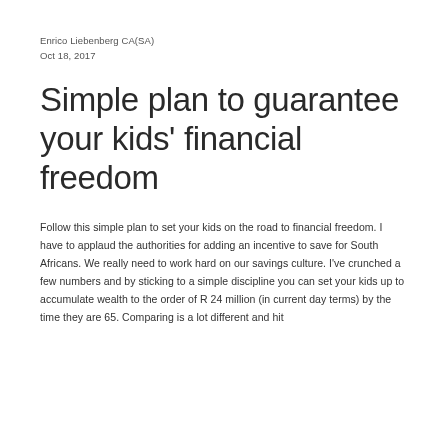Enrico Liebenberg CA(SA)
Oct 18, 2017
Simple plan to guarantee your kids' financial freedom
Follow this simple plan to set your kids on the road to financial freedom. I have to applaud the authorities for adding an incentive to save for South Africans. We really need to work hard on our savings culture. I've crunched a few numbers and by sticking to a simple discipline you can set your kids up to accumulate wealth to the order of R 24 million (in current day terms) by the time they are 65. Comparing is a lot different and hit